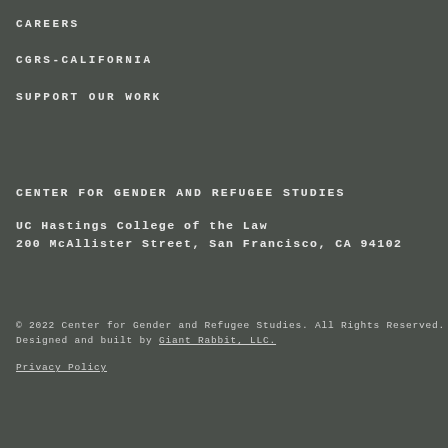CAREERS
CGRS-CALIFORNIA
SUPPORT OUR WORK
CENTER FOR GENDER AND REFUGEE STUDIES
UC Hastings College of the Law
200 McAllister Street, San Francisco, CA 94102
© 2022 Center for Gender and Refugee Studies. All Rights Reserved. Designed and built by Giant Rabbit, LLC.
Privacy Policy